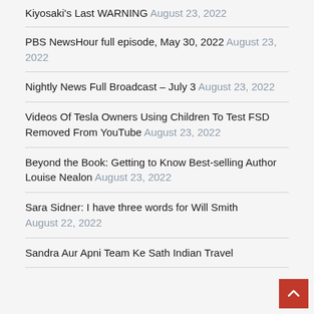Kiyosaki's Last WARNING August 23, 2022
PBS NewsHour full episode, May 30, 2022 August 23, 2022
Nightly News Full Broadcast – July 3 August 23, 2022
Videos Of Tesla Owners Using Children To Test FSD Removed From YouTube August 23, 2022
Beyond the Book: Getting to Know Best-selling Author Louise Nealon August 23, 2022
Sara Sidner: I have three words for Will Smith August 22, 2022
Sandra Aur Apni Team Ke Sath Indian Travel